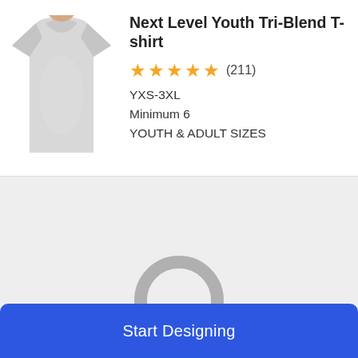[Figure (photo): Youth wearing a light gray tri-blend t-shirt, product photo]
Next Level Youth Tri-Blend T-shirt
★★★★★ (211)
YXS-3XL
Minimum 6
YOUTH & ADULT SIZES
[Figure (other): Loading spinner ring, gray circle with small teal/green segment at top-right, indicating page loading state]
Start Designing